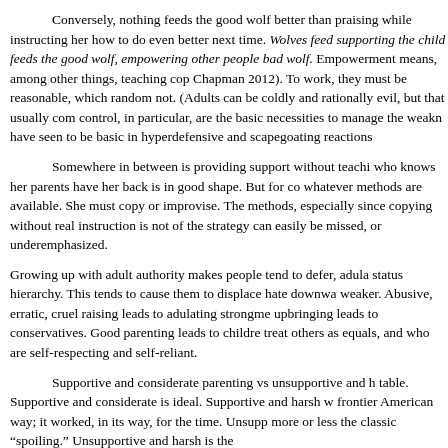Conversely, nothing feeds the good wolf better than praising while instructing her how to do even better next time. Wolves feed supporting the child feeds the good wolf, empowering other people bad wolf. Empowerment means, among other things, teaching cop Chapman 2012). To work, they must be reasonable, which random not. (Adults can be coldly and rationally evil, but that usually com control, in particular, are the basic necessities to manage the weakn have seen to be basic in hyperdefensive and scapegoating reactions
Somewhere in between is providing support without teachi who knows her parents have her back is in good shape. But for co whatever methods are available. She must copy or improvise. The methods, especially since copying without real instruction is not of the strategy can easily be missed, or underemphasized.
Growing up with adult authority makes people tend to defer, adula status hierarchy. This tends to cause them to displace hate downwa weaker. Abusive, erratic, cruel raising leads to adulating strongme upbringing leads to conservatives. Good parenting leads to childre treat others as equals, and who are self-respecting and self-reliant.
Supportive and considerate parenting vs unsupportive and h table. Supportive and considerate is ideal. Supportive and harsh w frontier American way; it worked, in its way, for the time. Unsupp more or less the classic “spoiling.” Unsupportive and harsh is the